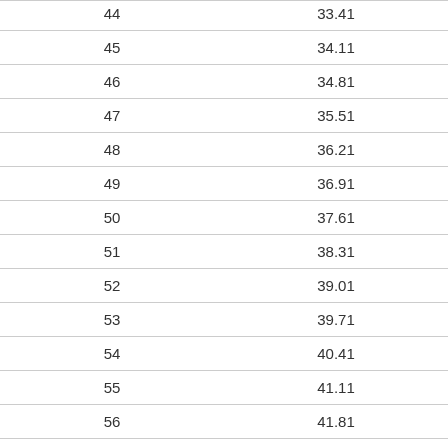| 44 | 33.41 |
| 45 | 34.11 |
| 46 | 34.81 |
| 47 | 35.51 |
| 48 | 36.21 |
| 49 | 36.91 |
| 50 | 37.61 |
| 51 | 38.31 |
| 52 | 39.01 |
| 53 | 39.71 |
| 54 | 40.41 |
| 55 | 41.11 |
| 56 | 41.81 |
| 57 | 42.51 |
| 58 | 43.21 |